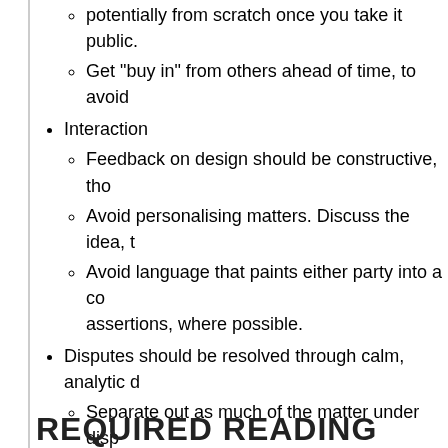potentially from scratch once you take it public.
Get "buy in" from others ahead of time, to avoid
Interaction
Feedback on design should be constructive, tho
Avoid personalising matters. Discuss the idea, th
Avoid language that paints either party into a co assertions, where possible.
Disputes should be resolved through calm, analytic d
Separate out as much of the matter under dispu (by measurement or logic).
Seek ways to resolve any remaining subjective through abstraction or modularisation.
Aim for Win-Win.
Respect others
Avoid passive-aggressive behaviours. E.g., tit-fo
It is acceptable for management to allocate reso use external, management intervention to over-t
REQUIRED READING